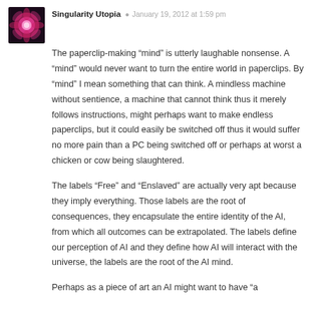Singularity Utopia · January 19, 2012 at 1:59 pm
The paperclip-making “mind” is utterly laughable nonsense. A “mind” would never want to turn the entire world in paperclips. By “mind” I mean something that can think. A mindless machine without sentience, a machine that cannot think thus it merely follows instructions, might perhaps want to make endless paperclips, but it could easily be switched off thus it would suffer no more pain than a PC being switched off or perhaps at worst a chicken or cow being slaughtered.
The labels “Free” and “Enslaved” are actually very apt because they imply everything. Those labels are the root of consequences, they encapsulate the entire identity of the AI, from which all outcomes can be extrapolated. The labels define our perception of AI and they define how AI will interact with the universe, the labels are the root of the AI mind.
Perhaps as a piece of art an AI might want to have “a